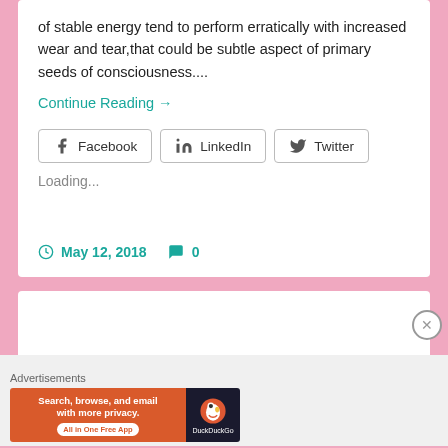of stable energy tend to perform erratically with increased wear and tear,that could be subtle aspect of primary seeds of consciousness....
Continue Reading →
[Figure (other): Social share buttons: Facebook, LinkedIn, Twitter]
Loading...
May 12, 2018   0
[Figure (other): Advertisement banner: DuckDuckGo - Search, browse, and email with more privacy. All in One Free App]